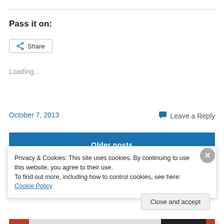Pass it on:
[Figure (other): Share button with share icon]
Loading...
October 7, 2013
Leave a Reply
[Figure (screenshot): Blue navigation bar partially visible]
Privacy & Cookies: This site uses cookies. By continuing to use this website, you agree to their use.
To find out more, including how to control cookies, see here: Cookie Policy
Close and accept